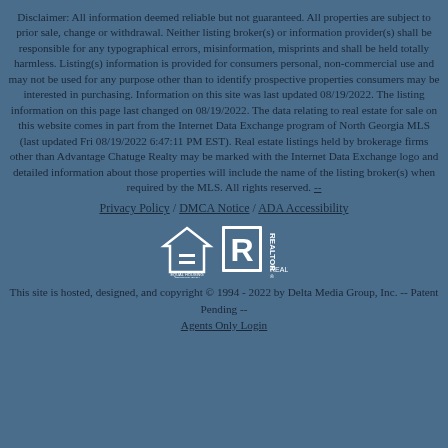Disclaimer: All information deemed reliable but not guaranteed. All properties are subject to prior sale, change or withdrawal. Neither listing broker(s) or information provider(s) shall be responsible for any typographical errors, misinformation, misprints and shall be held totally harmless. Listing(s) information is provided for consumers personal, non-commercial use and may not be used for any purpose other than to identify prospective properties consumers may be interested in purchasing. Information on this site was last updated 08/19/2022. The listing information on this page last changed on 08/19/2022. The data relating to real estate for sale on this website comes in part from the Internet Data Exchange program of North Georgia MLS (last updated Fri 08/19/2022 6:47:11 PM EST). Real estate listings held by brokerage firms other than Advantage Chatuge Realty may be marked with the Internet Data Exchange logo and detailed information about those properties will include the name of the listing broker(s) when required by the MLS. All rights reserved. --
Privacy Policy / DMCA Notice / ADA Accessibility
[Figure (logo): Equal Housing Opportunity logo and REALTOR logo side by side]
This site is hosted, designed, and copyright © 1994 - 2022 by Delta Media Group, Inc. -- Patent Pending -- Agents Only Login